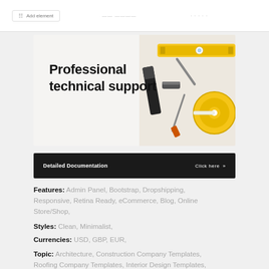[Figure (screenshot): Top UI bar with form element/box and dashed separators]
[Figure (photo): Banner image showing professional technical support text on left with construction tools (level, tape measure, paint roller) on right against light background]
[Figure (screenshot): Dark black bar with 'Detailed Documentation' on left and 'Click here »' on right]
Features: Admin Panel, Bootstrap, Dropshipping, Responsive, Retina Ready, eCommerce, Blog, Online Store/Shop,
Styles: Clean, Minimalist,
Currencies: USD, GBP, EUR,
Topic: Architecture, Construction Company Templates, Roofing Company Templates, Interior Design Templates,